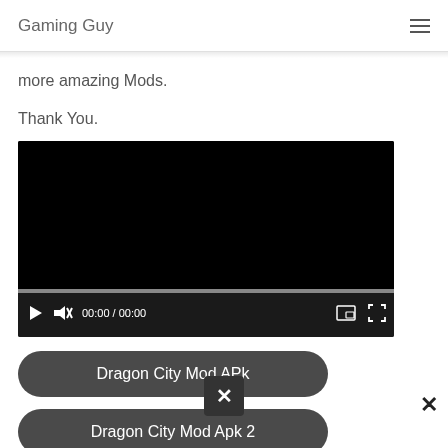Gaming Guy
more amazing Mods.
Thank You.
[Figure (screenshot): Embedded video player with black screen, progress bar, play button, mute button, time display 00:00 / 00:00, PiP button, and fullscreen button]
Dragon City Mod APk
Dragon City Mod Apk 2